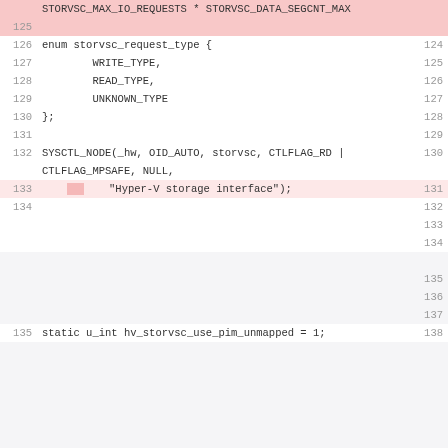[Figure (screenshot): Code diff view showing two columns of line numbers with source code in the middle. Left side shows lines 125-135, right side shows lines 124-138. Pink/red highlights indicate removed lines. Code shows an enum storvsc_request_type and related C code.]